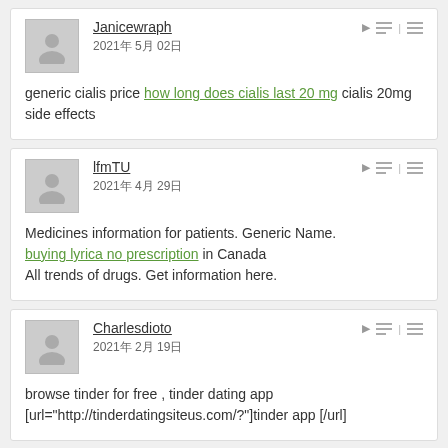Janicewraph
2021年 5月 02日
generic cialis price how long does cialis last 20 mg cialis 20mg side effects
lfmTU
2021年 4月 29日
Medicines information for patients. Generic Name.
buying lyrica no prescription in Canada
All trends of drugs. Get information here.
Charlesdioto
2021年 2月 19日
browse tinder for free , tinder dating app
[url="http://tinderdatingsiteus.com/?"]tinder app [/url]